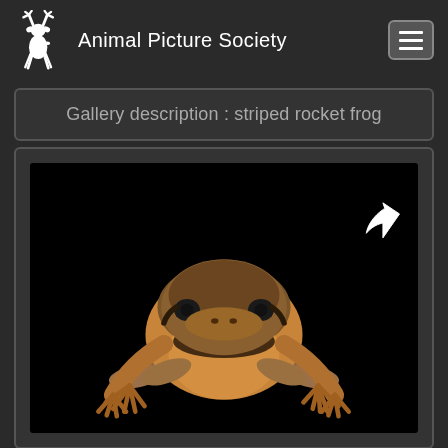Animal Picture Society
Gallery description : striped rocket frog
[Figure (photo): A striped rocket frog photographed against a black background, facing the camera in a crouching position. The frog is brownish-orange with darker stripes on its back.]